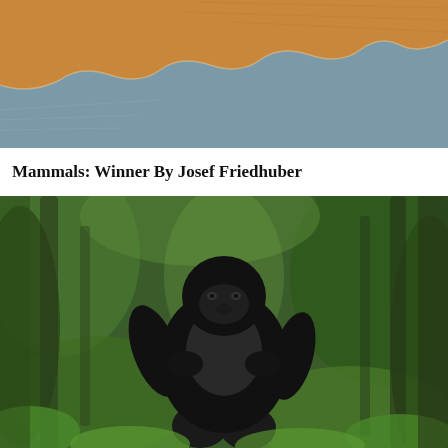[Figure (photo): Top portion of a nature photograph showing two contrasting water bodies meeting — one blue-grey and one orange/amber — with a wavy boundary line between them.]
Mammals: Winner By Josef Friedhuber
[Figure (photo): A large black gorilla (silverback) standing upright and beating its chest in a lush green jungle/forest setting, with blurred green foliage in the background.]